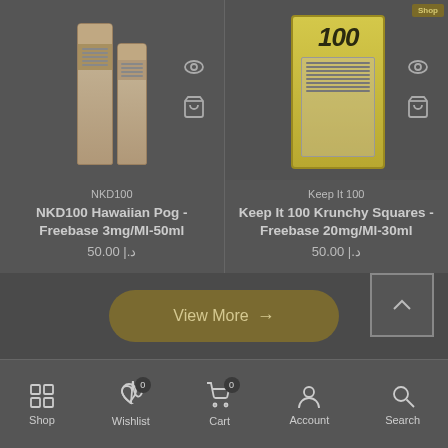[Figure (photo): Product card for NKD100 Hawaiian Pog showing two bottles]
NKD100
NKD100 Hawaiian Pog - Freebase 3mg/Ml-50ml
50.00 |.د
[Figure (photo): Product card for Keep It 100 Krunchy Squares showing yellow box packaging with 100 branding]
Keep It 100
Keep It 100 Krunchy Squares - Freebase 20mg/Ml-30ml
50.00 |.د
View More →
Shop  Wishlist  Cart  Account  Search